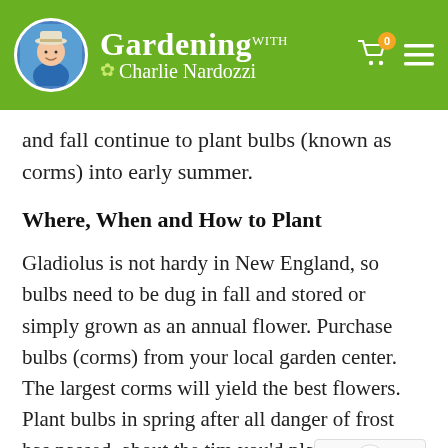Gardening with Charlie Nardozzi
and fall continue to plant bulbs (known as corms) into early summer.
Where, When and How to Plant
Gladiolus is not hardy in New England, so bulbs need to be dug in fall and stored or simply grown as an annual flower. Purchase bulbs (corms) from your local garden center. The largest corms will yield the best flowers. Plant bulbs in spring after all danger of frost has passed, about the time you'd plant corn, on well-drained soil. Gladiolus